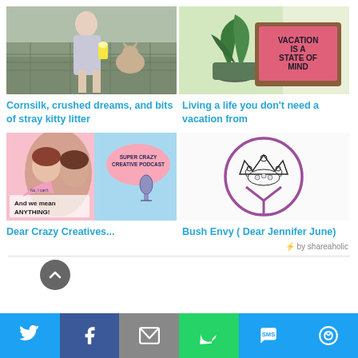[Figure (photo): Woman in silver dress sitting on patterned couch with a cat, holding popcorn]
Cornsilk, crushed dreams, and bits of stray kitty litter
[Figure (photo): Pink letter board sign reading VACATION IS A STATE OF MIND with a plant nearby]
Living a life you don't need a vacation from
[Figure (photo): Super Crazy Creative Podcast artwork with two women and speech bubbles]
Dear Crazy Creatives...
[Figure (illustration): Bush Envy logo with crown and circular design in purple]
Bush Envy ( Dear Jennifer June)
⚡ by shareaholic
[Figure (infographic): Social sharing bar with Twitter, Facebook, Email, WhatsApp, SMS, and More buttons]